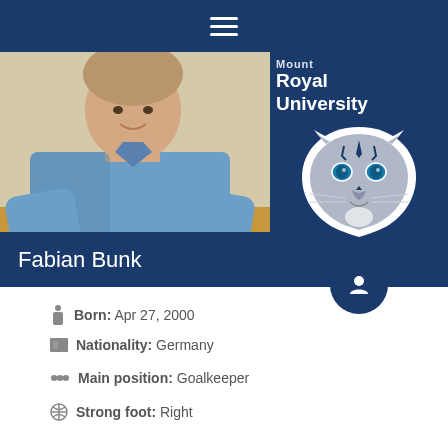Mount Royal University (mobile app header with hamburger menu)
[Figure (photo): Photo of Fabian Bunk, a young man in a blue shirt sitting at a desk writing with a pen]
Fabian Bunk
[Figure (logo): Mount Royal University cougar mascot logo — stylized cougar head with blue eyes on dark navy background, text reading 'Mount Royal University']
Born: Apr 27, 2000
Nationality: Germany
Main position: Goalkeeper
Strong foot: Right